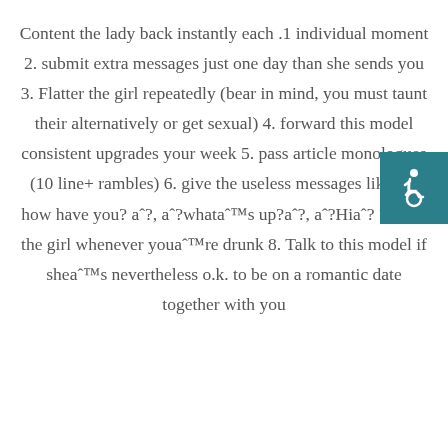Content the lady back instantly each .1 individual moment 2. submit extra messages just one day than she sends you 3. Flatter the girl repeatedly (bear in mind, you must taunt their alternatively or get sexual) 4. forward this model consistent upgrades your week 5. pass article monologues (10 line+ rambles) 6. give the useless messages like aˆ?how have you? aˆ?, aˆ?whataˆ™s up?aˆ?, aˆ?Hiaˆ? 7. Text the girl whenever youaˆ™re drunk 8. Talk to this model if sheaˆ™s nevertheless o.k. to be on a romantic date together with you
[Figure (illustration): Accessibility icon — white wheelchair symbol on teal/dark cyan background square, positioned at top right]